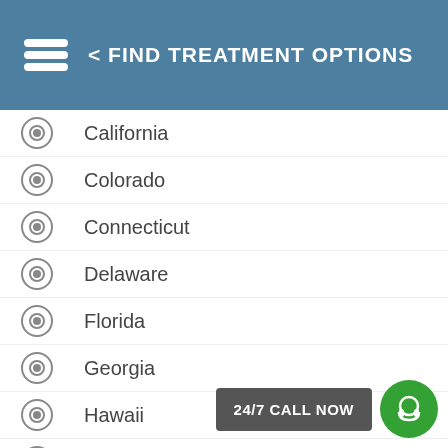< FIND TREATMENT OPTIONS
California
Colorado
Connecticut
Delaware
Florida
Georgia
Hawaii
Idaho
Illinois
Indiana
Iowa
Kansas
Kentucky
24/7 CALL NOW